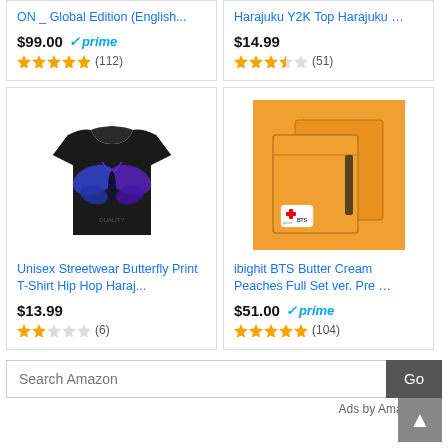ON _ Global Edition (English...
$99.00 prime
(112)
Harajuku Y2K Top Harajuku ...
$14.99
(51)
[Figure (photo): Black t-shirt with blue butterfly graphic print and text, streetwear style]
Unisex Streetwear Butterfly Print T-Shirt Hip Hop Haraj...
$13.99
(6)
[Figure (photo): Orange box set product packaging - ibighit BTS Butter Cream Peaches Full Set, shown with a small logo sticker on orange background]
ibighit BTS Butter Cream Peaches Full Set ver. Pre ...
$51.00 prime
(104)
Search Amazon
Ads by Amazon